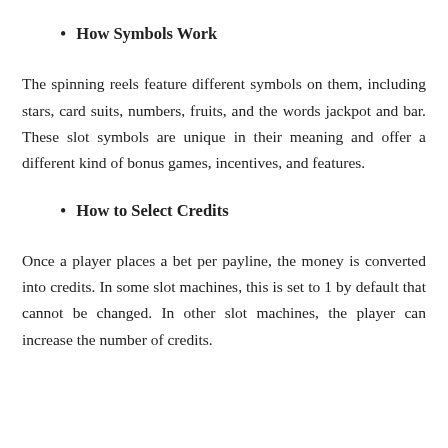How Symbols Work
The spinning reels feature different symbols on them, including stars, card suits, numbers, fruits, and the words jackpot and bar. These slot symbols are unique in their meaning and offer a different kind of bonus games, incentives, and features.
How to Select Credits
Once a player places a bet per payline, the money is converted into credits. In some slot machines, this is set to 1 by default that cannot be changed. In other slot machines, the player can increase the number of credits.